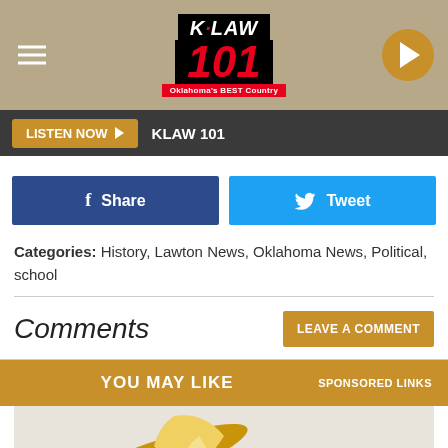[Figure (screenshot): KLAW 101 radio station website header with logo, hamburger menu, and play button on textured background]
LISTEN NOW ▶  KLAW 101
[Figure (screenshot): Facebook Share button (blue) and Twitter Tweet button (light blue) side by side]
Categories: History, Lawton News, Oklahoma News, Political, school
Comments
[Figure (screenshot): LEAVE A COMMENT button in orange/gold]
[Figure (screenshot): YOU MAY LIKE / SPONSORED LINKS banner bar in gold/orange]
[Figure (photo): Photo of bananas on a light gray/white background]